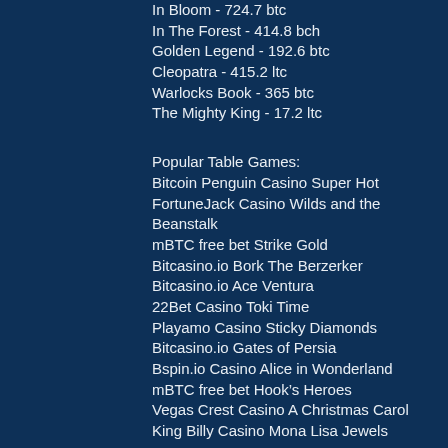In Bloom - 724.7 btc
In The Forest - 414.8 bch
Golden Legend - 192.6 btc
Cleopatra - 415.2 ltc
Warlocks Book - 365 btc
The Mighty King - 17.2 ltc
Popular Table Games:
Bitcoin Penguin Casino Super Hot
FortuneJack Casino Wilds and the Beanstalk
mBTC free bet Strike Gold
Bitcasino.io Bork The Berzerker
Bitcasino.io Ace Ventura
22Bet Casino Toki Time
Playamo Casino Sticky Diamonds
Bitcasino.io Gates of Persia
Bspin.io Casino Alice in Wonderland
mBTC free bet Hook’s Heroes
Vegas Crest Casino A Christmas Carol
King Billy Casino Mona Lisa Jewels